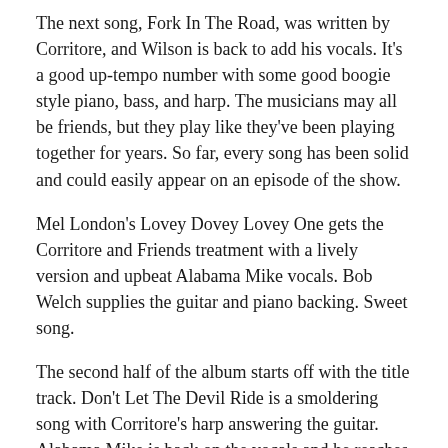The next song, Fork In The Road, was written by Corritore, and Wilson is back to add his vocals. It's a good up-tempo number with some good boogie style piano, bass, and harp. The musicians may all be friends, but they play like they've been playing together for years. So far, every song has been solid and could easily appear on an episode of the show.
Mel London's Lovey Dovey Lovey One gets the Corritore and Friends treatment with a lively version and upbeat Alabama Mike vocals. Bob Welch supplies the guitar and piano backing. Sweet song.
The second half of the album starts off with the title track. Don't Let The Devil Ride is a smoldering song with Corritore's harp answering the guitar. Alabama Mike is back on the vocals and he reaches deep into his soul for a little gospel fervor to make this song a great experience.
Bill Perry wrote the next number, Willie Mae, plays guitar and sings on it as well. It's a stripped down but effective sound reminiscent of zydeco bands. Add a button accordion and a washboard and this one would be at home in any bar along the bayou. Love it!